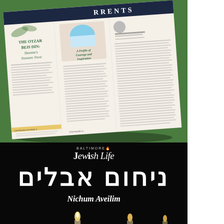[Figure (photo): Magazine mockup of a publication called CURRENTS shown at an angle on a green surface. The magazine features articles including 'The Otzar Beis Din: Shemita's Treasure Trove' and 'A Profile of Courage and Inspiration'. The cover/spread has cream/tan pages with multi-column layout, serif typography, and decorative elements.]
[Figure (photo): Black background with candle flames visible at the bottom. Overlaid with the Baltimore Jewish Life logo, large Hebrew text 'ניחום אבלים' and italic transliteration 'Nichum Aveilim'.]
BALTIMORE Jewish Life
ניחום אבלים
Nichum Aveilim